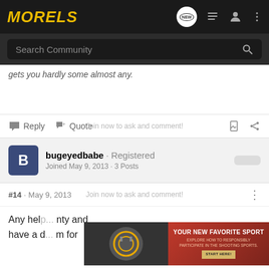MORELS
Search Community
gets you hardly some almost any.
Reply  Quote
Join now to ask and comment!
bugeyedbabe · Registered
Joined May 9, 2013 · 3 Posts
#14 · May 9, 2013
Any hel... nty and
have a d... m for
YOUR NEW FAVORITE SPORT
EXPLORE HOW TO RESPONSIBLY PARTICIPATE IN THE SHOOTING SPORTS. START HERE!